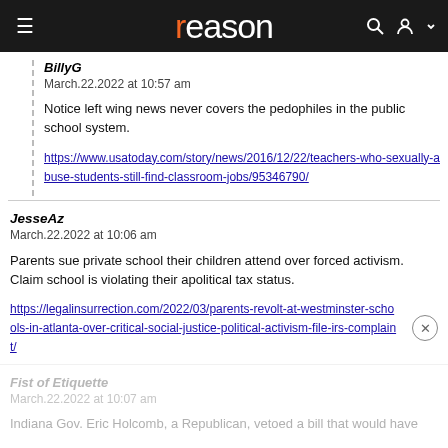reason
BillyG
March.22.2022 at 10:57 am

Notice left wing news never covers the pedophiles in the public school system.

https://www.usatoday.com/story/news/2016/12/22/teachers-who-sexually-abuse-students-still-find-classroom-jobs/95346790/
JesseAz
March.22.2022 at 10:06 am

Parents sue private school their children attend over forced activism. Claim school is violating their apolitical tax status.

https://legalinsurrection.com/2022/03/parents-revolt-at-westminster-schools-in-atlanta-over-critical-social-justice-political-activism-file-irs-complaint/
Fist of Etiquette
March.22.2022 at 10:07 am

Indiana Gov. Eric Holcomb, a Republican, vetoed a bill that would have